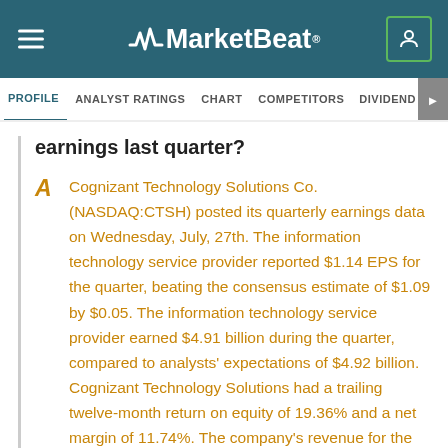MarketBeat
PROFILE  ANALYST RATINGS  CHART  COMPETITORS  DIVIDEND  EARNINGS
earnings last quarter?
Cognizant Technology Solutions Co. (NASDAQ:CTSH) posted its quarterly earnings data on Wednesday, July, 27th. The information technology service provider reported $1.14 EPS for the quarter, beating the consensus estimate of $1.09 by $0.05. The information technology service provider earned $4.91 billion during the quarter, compared to analysts' expectations of $4.92 billion. Cognizant Technology Solutions had a trailing twelve-month return on equity of 19.36% and a net margin of 11.74%. The company's revenue for the quarter was up 7.0% compared to the same quarter last year. During